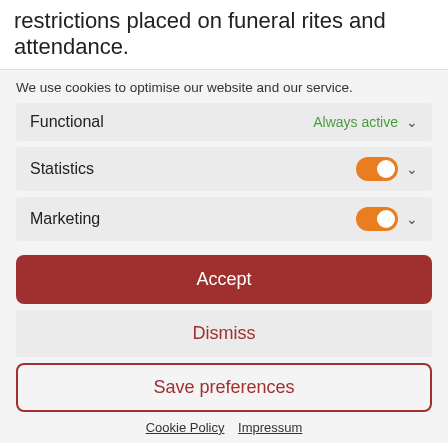restrictions placed on funeral rites and attendance.
We use cookies to optimise our website and our service.
Functional — Always active
Statistics
Marketing
Accept
Dismiss
Save preferences
Cookie Policy  Impressum